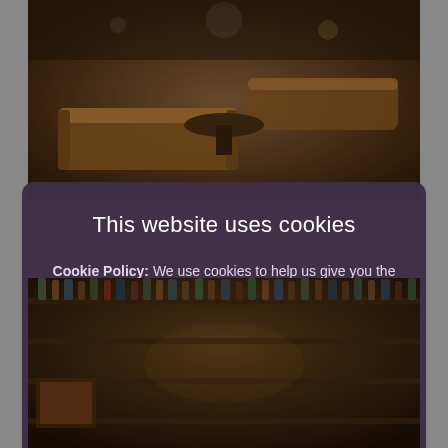[Figure (photo): Interior of a bar/lounge with brown leather Chesterfield sofas and dark wooden tables, dimly lit]
This website uses cookies
Cookie Policy: We use cookies to help us give you the best experience on our site. Find out more.
I ACCEPT
I DO NOT ACCEPT
[Figure (photo): Interior of a bar with shelves lined with liquor bottles, warm ambient lighting]